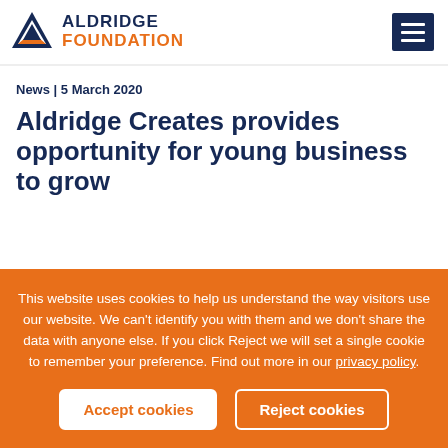[Figure (logo): Aldridge Foundation logo with triangular A symbol in navy and orange, with text ALDRIDGE FOUNDATION]
News | 5 March 2020
Aldridge Creates provides opportunity for young business to grow
This website uses cookies to help us understand the way visitors use our website. We can't identify you with them and we don't share the data with anyone else. If you click Reject we will set a single cookie to remember your preference. Find out more in our privacy policy.